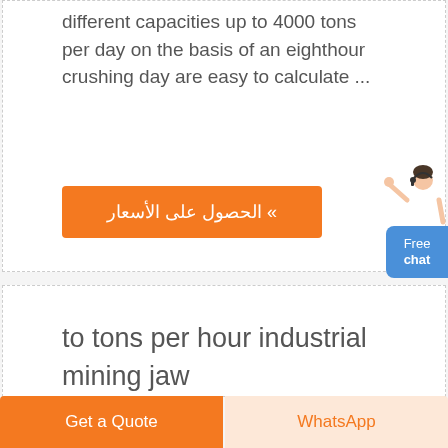different capacities up to 4000 tons per day on the basis of an eighthour crushing day are easy to calculate ...
» الحصول على الأسعار
[Figure (illustration): Customer service agent figure with Free chat button]
to tons per hour industrial mining jaw
Get a Quote
WhatsApp